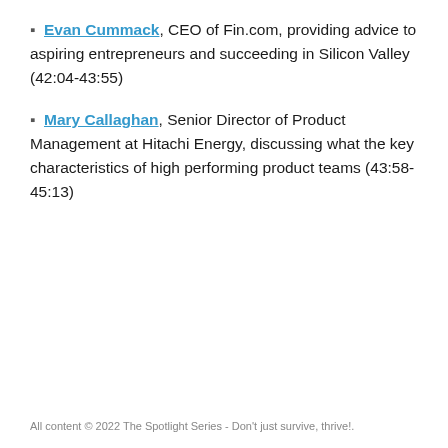🔗Evan Cummack, CEO of Fin.com, providing advice to aspiring entrepreneurs and succeeding in Silicon Valley (42:04-43:55)
🔗Mary Callaghan, Senior Director of Product Management at Hitachi Energy, discussing what the key characteristics of high performing product teams (43:58-45:13)
All content © 2022 The Spotlight Series - Don't just survive, thrive!.